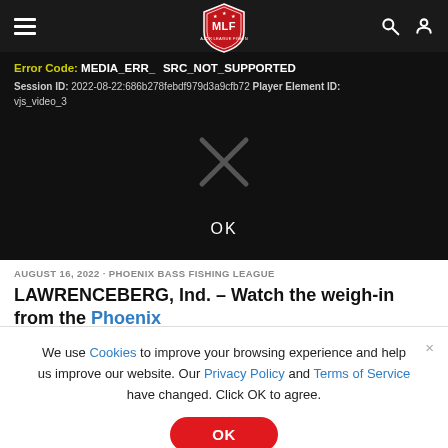MLF (Major League Fishing) navigation bar with hamburger menu, MLF logo, search and user icons
[Figure (screenshot): Video player error screen with dark background showing error code MEDIA_ERR_SRC_NOT_SUPPORTED, Session ID and Player Element ID, an X icon, and an OK button]
AUGUST 16, 2022 • PHOENIX BASS FISHING LEAGUE
LAWRENCEBERG, Ind. – Watch the weigh-in from the Phoenix
We use Cookies to improve your browsing experience and help us improve our website. Our Privacy Policy and Terms of Service have changed. Click OK to agree.
OK